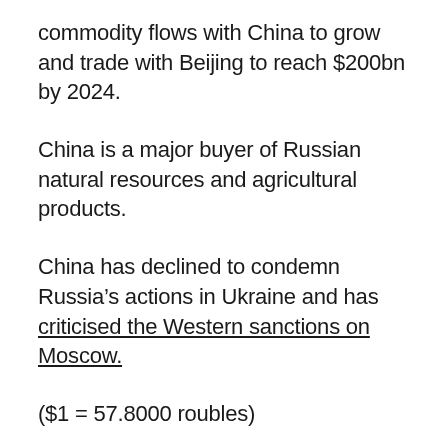commodity flows with China to grow and trade with Beijing to reach $200bn by 2024.
China is a major buyer of Russian natural resources and agricultural products.
China has declined to condemn Russia’s actions in Ukraine and has criticised the Western sanctions on Moscow.
($1 = 57.8000 roubles)